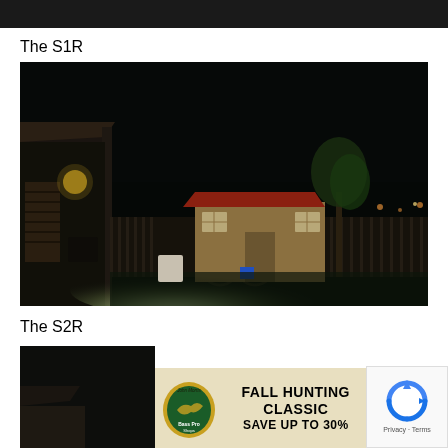[Figure (photo): Top portion of a dark/night scene photo, partially cropped at top of page]
The S1R
[Figure (photo): Nighttime backyard scene illuminated by a flashlight beam. A small shed with red roof is visible in the background, with a wooden fence. A tree is visible on the right side of the shed. The flashlight beam illuminates the green lawn in the foreground. A house structure with covered patio/porch is visible on the left.]
The S2R
[Figure (photo): Bottom portion of another nighttime photo, partially visible]
[Figure (infographic): Bass Pro Shops advertisement banner: FALL HUNTING CLASSIC SAVE UP TO 30% with SHOP NOW button]
[Figure (other): Google reCAPTCHA badge with Privacy and Terms text]